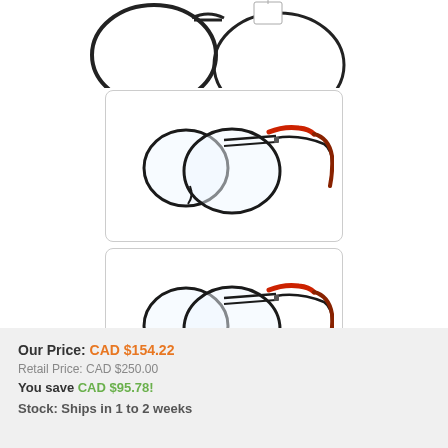[Figure (photo): Top portion of aviator eyeglasses frames with black metal and red temples, partially cropped at top of page]
[Figure (photo): Aviator style eyeglasses with black metal frames and red/dark red temple arms, side view, in a rounded-rectangle bordered box]
[Figure (photo): Aviator style eyeglasses with black metal frames and red/dark red temple arms, side view, in a rounded-rectangle bordered box]
Our Price: CAD $154.22
Retail Price: CAD $250.00
You save CAD $95.78!
Stock: Ships in 1 to 2 weeks